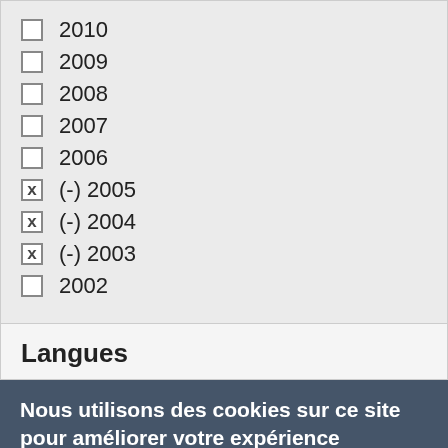2010
2009
2008
2007
2006
(-) 2005
(-) 2004
(-) 2003
2002
Langues
Nous utilisons des cookies sur ce site pour améliorer votre expérience d'utilisateur.
En cliquant sur un lien de cette page, vous nous donnez votre consentement de définir des cookies.